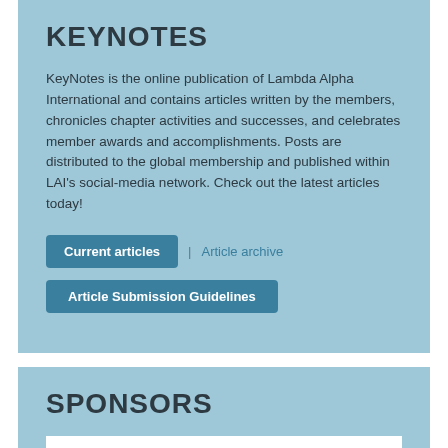KEYNOTES
KeyNotes is the online publication of Lambda Alpha International and contains articles written by the members, chronicles chapter activities and successes, and celebrates member awards and accomplishments. Posts are distributed to the global membership and published within LAI's social-media network. Check out the latest articles today!
Current articles | Article archive
Article Submission Guidelines
SPONSORS